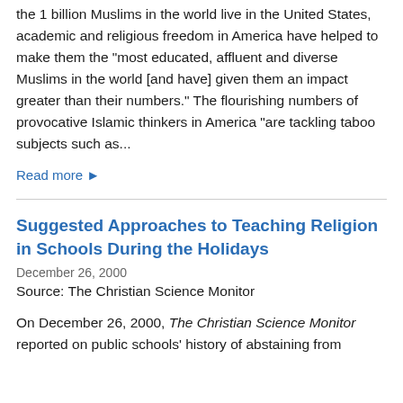the 1 billion Muslims in the world live in the United States, academic and religious freedom in America have helped to make them the "most educated, affluent and diverse Muslims in the world [and have] given them an impact greater than their numbers." The flourishing numbers of provocative Islamic thinkers in America "are tackling taboo subjects such as...
Read more ▶
Suggested Approaches to Teaching Religion in Schools During the Holidays
December 26, 2000
Source: The Christian Science Monitor
On December 26, 2000, The Christian Science Monitor reported on public schools' history of abstaining from